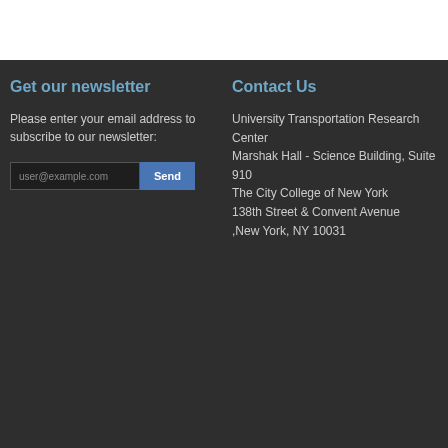Get our newsletter
Please enter your email address to subscribe to our newsletter:
Contact Us
University Transportation Research Center Marshak Hall - Science Building, Suite 910 The City College of New York 138th Street & Convent Avenue ,New York, NY 10031